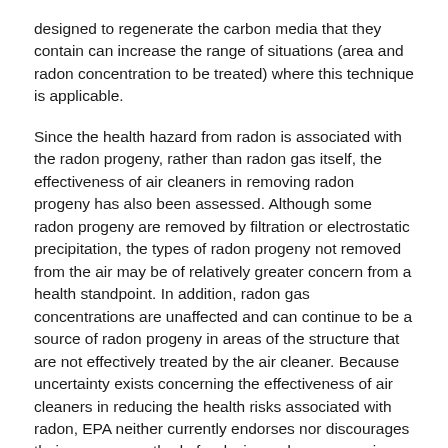designed to regenerate the carbon media that they contain can increase the range of situations (area and radon concentration to be treated) where this technique is applicable.
Since the health hazard from radon is associated with the radon progeny, rather than radon gas itself, the effectiveness of air cleaners in removing radon progeny has also been assessed. Although some radon progeny are removed by filtration or electrostatic precipitation, the types of radon progeny not removed from the air may be of relatively greater concern from a health standpoint. In addition, radon gas concentrations are unaffected and can continue to be a source of radon progeny in areas of the structure that are not effectively treated by the air cleaner. Because uncertainty exists concerning the effectiveness of air cleaners in reducing the health risks associated with radon, EPA neither currently endorses nor discourages their use as a method of reducing radon progeny in indoor air.
Will Air Cleaning Reduce Health Effects from Indoor Air Pollutants?
As previously discussed, no air-cleaning system is available